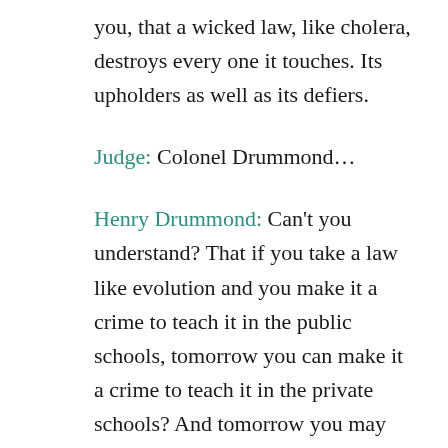you, that a wicked law, like cholera, destroys every one it touches. Its upholders as well as its defiers.
Judge: Colonel Drummond...
Henry Drummond: Can't you understand? That if you take a law like evolution and you make it a crime to teach it in the public schools, tomorrow you can make it a crime to teach it in the private schools? And tomorrow you may make it a crime to read about it. And soon you may ban books and newspapers. And then you may turn Catholic against Protestant, and Protestant against Protestant, and try to foist your own